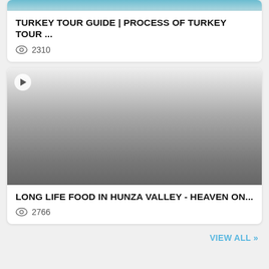[Figure (screenshot): Video thumbnail for Turkey Tour Guide - gradient grey/teal image (top portion visible, cropped at top)]
TURKEY TOUR GUIDE | PROCESS OF TURKEY TOUR ...
2310
[Figure (screenshot): Video thumbnail for Long Life Food in Hunza Valley - grey gradient image with play button]
LONG LIFE FOOD IN HUNZA VALLEY - HEAVEN ON...
2766
VIEW ALL »